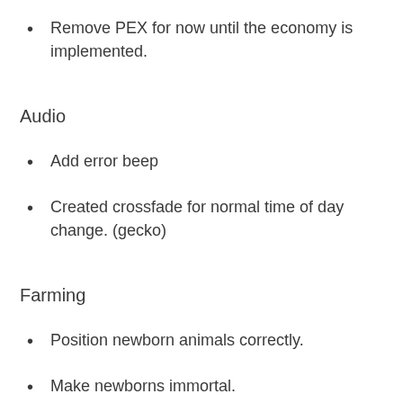Remove PEX for now until the economy is implemented.
Audio
Add error beep
Created crossfade for normal time of day change. (gecko)
Farming
Position newborn animals correctly.
Make newborns immortal.
Procedural Generation